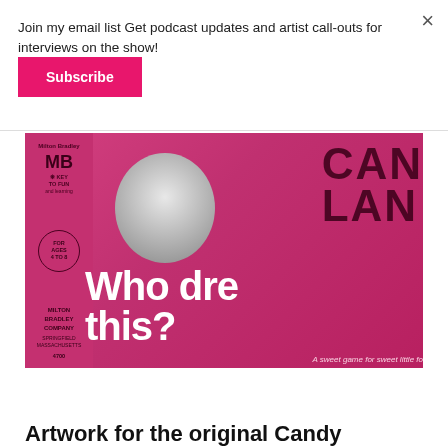Join my email list Get podcast updates and artist call-outs for interviews on the show!
×
Subscribe
[Figure (photo): Candy Land board game box cover in pink/magenta with an upside-down child's face in black and white, Milton Bradley Company branding on left side, 'CANDY LAND' text on right, and overlay text 'Who dre... this?' and 'A sweet... game for sweet little fo...']
Artwork for the original Candy